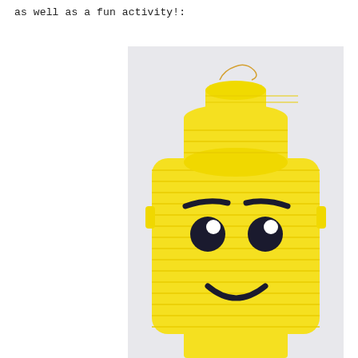as well as a fun activity!:
[Figure (photo): A yellow LEGO minifigure head-shaped piñata with black eyebrows, round eyes with white highlights, and a curved smile, against a light background with a hanging string visible at the top.]